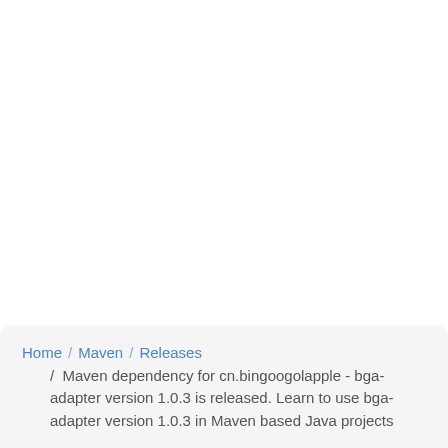Home / Maven / Releases / Maven dependency for cn.bingoogolapple - bga-adapter version 1.0.3 is released. Learn to use bga-adapter version 1.0.3 in Maven based Java projects